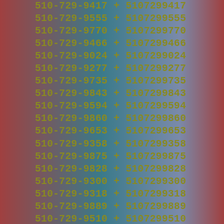| Formatted Number | Op | Digits |
| --- | --- | --- |
| 510-729-9417 | + | 5107299417 |
| 510-729-9555 | + | 5107299555 |
| 510-729-9770 | + | 5107299770 |
| 510-729-9466 | + | 5107299466 |
| 510-729-9024 | + | 5107299024 |
| 510-729-9277 | + | 5107299277 |
| 510-729-9735 | + | 5107299735 |
| 510-729-9843 | + | 5107299843 |
| 510-729-9594 | + | 5107299594 |
| 510-729-9860 | + | 5107299860 |
| 510-729-9653 | + | 5107299653 |
| 510-729-9358 | + | 5107299358 |
| 510-729-9875 | + | 5107299875 |
| 510-729-9828 | + | 5107299828 |
| 510-729-9300 | + | 5107299300 |
| 510-729-9318 | + | 5107299318 |
| 510-729-9889 | + | 5107299889 |
| 510-729-9510 | + | 5107299510 |
| 510-729-9222 | + | 5107299222 |
| 510-729-9564 | + | 5107299564 |
| 510-729-9112 | + | 5107299112 |
| 510-729-9043 | + | 5107299043 |
| 510-729-9088 | + | 5107299088 |